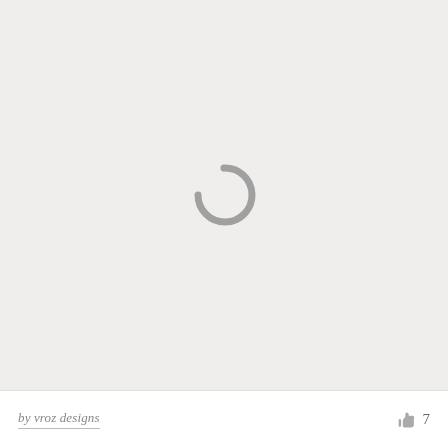[Figure (illustration): Loading spinner icon — a partial circle arc in gray, open on the left side, centered in a light beige/gray background area. Suggests a loading or buffering state.]
by vroz designs
7